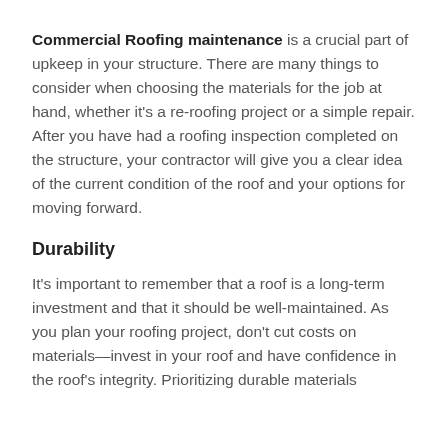Commercial Roofing maintenance is a crucial part of upkeep in your structure. There are many things to consider when choosing the materials for the job at hand, whether it's a re-roofing project or a simple repair. After you have had a roofing inspection completed on the structure, your contractor will give you a clear idea of the current condition of the roof and your options for moving forward.
Durability
It's important to remember that a roof is a long-term investment and that it should be well-maintained. As you plan your roofing project, don't cut costs on materials—invest in your roof and have confidence in the roof's integrity. Prioritizing durable materials